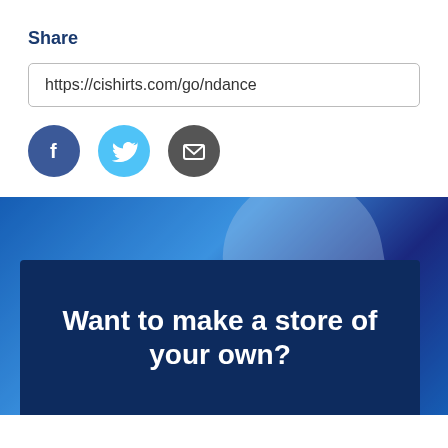Share
https://cishirts.com/go/ndance
[Figure (infographic): Social share icons: Facebook (blue circle with f), Twitter (light blue circle with bird), Email (dark gray circle with envelope)]
[Figure (photo): Background photo of blue shirts/fabric with dark navy overlay panel containing the text 'Want to make a store of your own?']
Want to make a store of your own?